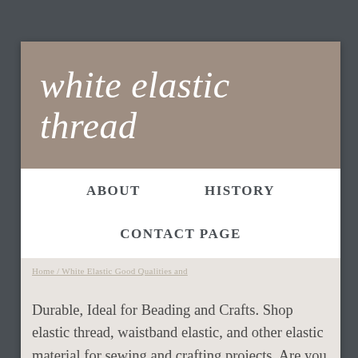white elastic thread
ABOUT
HISTORY
CONTACT PAGE
Durable, Ideal for Beading and Crafts. Shop elastic thread, waistband elastic, and other elastic material for sewing and crafting projects. Are you having trouble sewing elastic? Elastic Thread (Black) 30yd #DE9345B $3.99 $2.99 Save 25% Elastic